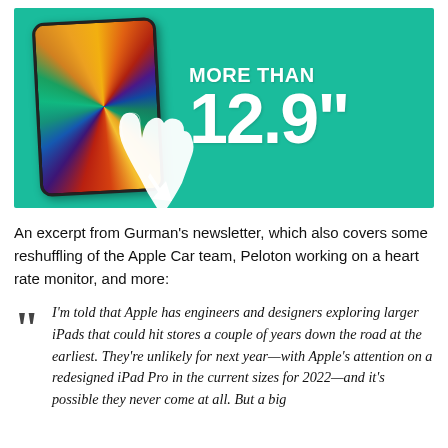[Figure (infographic): Teal/green background image showing an iPad Pro with colorful display and a hand cursor, with bold white text reading 'MORE THAN 12.9"']
An excerpt from Gurman's newsletter, which also covers some reshuffling of the Apple Car team, Peloton working on a heart rate monitor, and more:
I'm told that Apple has engineers and designers exploring larger iPads that could hit stores a couple of years down the road at the earliest. They're unlikely for next year—with Apple's attention on a redesigned iPad Pro in the current sizes for 2022—and it's possible they never come at all. But a big